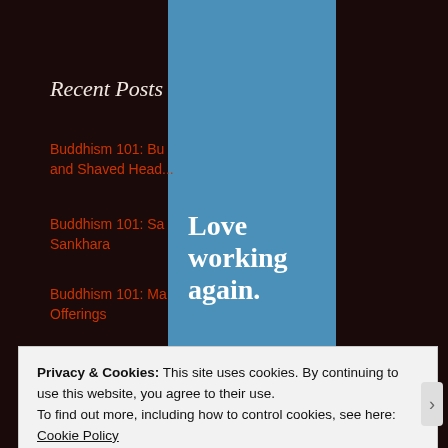Recent Posts
Buddhism 101: Bu... and Shaved Head...
Buddhism 101: Sa... Sankhara
Buddhism 101: Ma... Offerings
Buddhism 101: Bu... Objects
Buddhism 101: Ra...
[Figure (screenshot): Advertisement overlay with blue background reading 'Love working again.' with an Apply button]
Privacy & Cookies: This site uses cookies. By continuing to use this website, you agree to their use. To find out more, including how to control cookies, see here: Cookie Policy
Close and accept